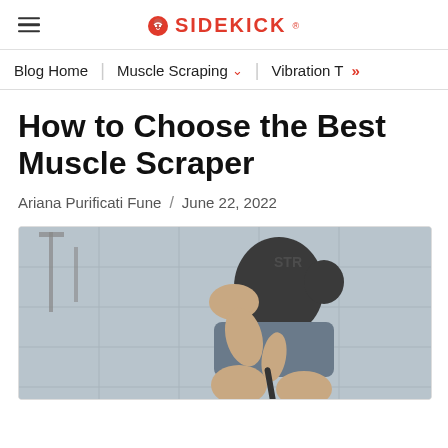SIDEKICK
Blog Home  /  Muscle Scraping  /  Vibration T >>
How to Choose the Best Muscle Scraper
Ariana Purificati Fune / June 22, 2022
[Figure (photo): A person sitting and using a muscle scraper tool on their leg, wearing dark athletic shorts and a black shirt with 'STR' text visible, in a gym setting with grey tiled walls.]